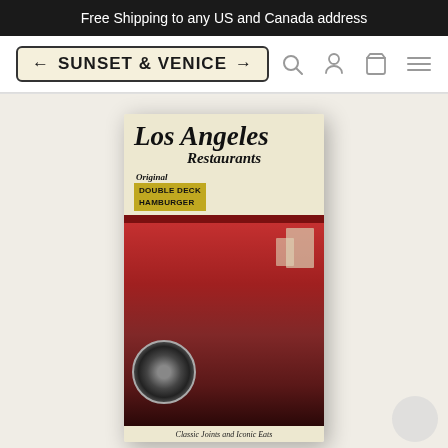Free Shipping to any US and Canada address
[Figure (logo): Sunset & Venice store logo badge with left and right arrows, navigation icons for search, account, cart, and menu]
[Figure (photo): Book cover: Los Angeles Restaurants - Classic Joints and Iconic Eats, featuring a vintage red car and a retro drive-in scene with a carhop, and a sign reading Original Double Deck Hamburger]